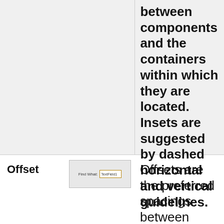between components and the containers within which they are located. Insets are suggested by dashed horizontal and vertical guidelines.
Offset
[Figure (screenshot): Screenshot showing a UI dialog with a label 'Find What:' and a text field component labeled 'TextField1']
Offsets are the preferred spacings between adjacent